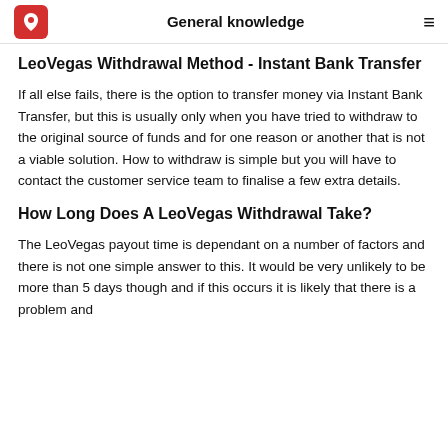General knowledge
LeoVegas Withdrawal Method - Instant Bank Transfer
If all else fails, there is the option to transfer money via Instant Bank Transfer, but this is usually only when you have tried to withdraw to the original source of funds and for one reason or another that is not a viable solution. How to withdraw is simple but you will have to contact the customer service team to finalise a few extra details.
How Long Does A LeoVegas Withdrawal Take?
The LeoVegas payout time is dependant on a number of factors and there is not one simple answer to this. It would be very unlikely to be more than 5 days though and if this occurs it is likely that there is a problem and